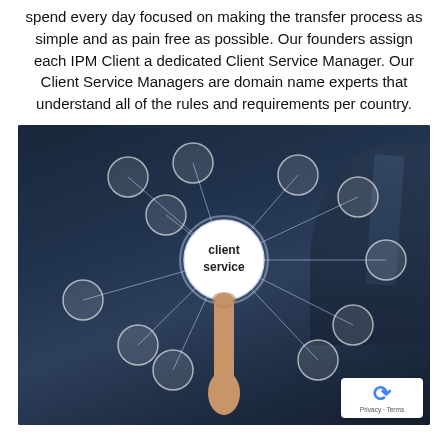spend every day focused on making the transfer process as simple and as pain free as possible. Our founders assign each IPM Client a dedicated Client Service Manager. Our Client Service Managers are domain name experts that understand all of the rules and requirements per country.
[Figure (infographic): Dark background photo of a businessman in a suit touching a glowing 'client service' circle in the center, surrounded by person-icon circles connected by lines radiating outward, representing a client service network. A reCAPTCHA badge appears in the bottom right corner.]